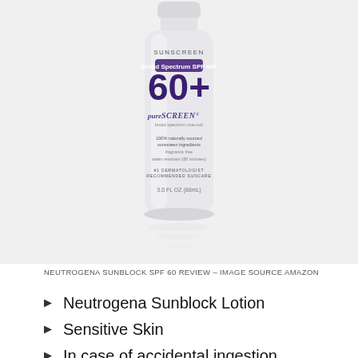[Figure (photo): Neutrogena Pure Screen Sunscreen bottle, Broad Spectrum SPF 60+, 3.0 FL OZ (88mL), white tube with purple label]
NEUTROGENA SUNBLOCK SPF 60 REVIEW – IMAGE SOURCE AMAZON
Neutrogena Sunblock Lotion
Sensitive Skin
In case of accidental ingestion